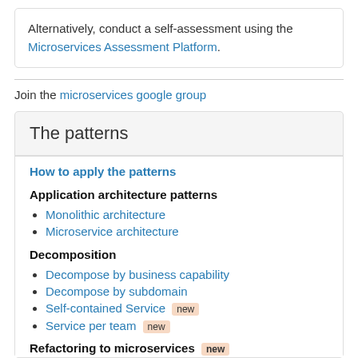Alternatively, conduct a self-assessment using the Microservices Assessment Platform.
Join the microservices google group
The patterns
How to apply the patterns
Application architecture patterns
Monolithic architecture
Microservice architecture
Decomposition
Decompose by business capability
Decompose by subdomain
Self-contained Service new
Service per team new
Refactoring to microservices new